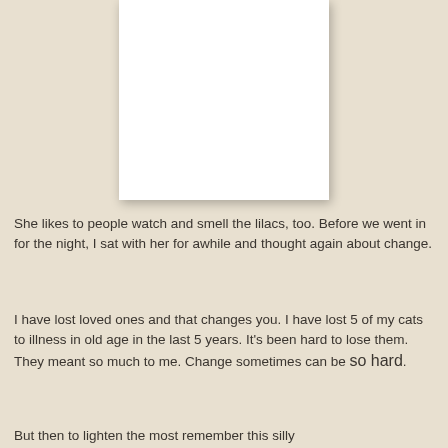[Figure (photo): A white blank/empty page or photo area centered at the top of the document page]
She likes to people watch and smell the lilacs, too. Before we went in for the night, I sat with her for awhile and thought again about change.
I have lost loved ones and that changes you. I have lost 5 of my cats to illness in old age in the last 5 years. It's been hard to lose them. They meant so much to me. Change sometimes can be so hard.
But then to lighten the most remember this silly